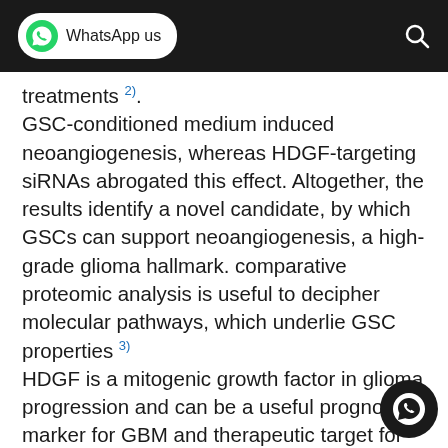WhatsApp us
treatments 2). GSC-conditioned medium induced neoangiogenesis, whereas HDGF-targeting siRNAs abrogated this effect. Altogether, the results identify a novel candidate, by which GSCs can support neoangiogenesis, a high-grade glioma hallmark. comparative proteomic analysis is useful to decipher molecular pathways, which underlie GSC properties 3) HDGF is a mitogenic growth factor in glioma progression and can be a useful prognostic marker for GBM and therapeutic target for clinical management of glioma in the future 4).